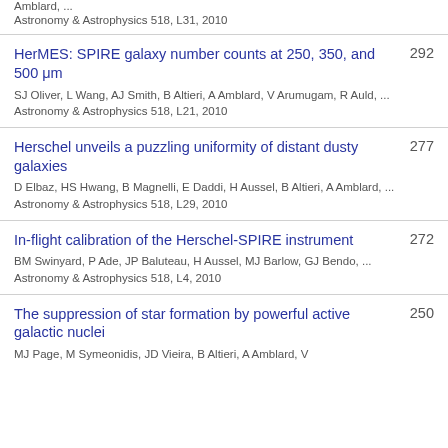Amblard, ...
Astronomy & Astrophysics 518, L31, 2010
HerMES: SPIRE galaxy number counts at 250, 350, and 500 μm
292
SJ Oliver, L Wang, AJ Smith, B Altieri, A Amblard, V Arumugam, R Auld, ...
Astronomy & Astrophysics 518, L21, 2010
Herschel unveils a puzzling uniformity of distant dusty galaxies
277
D Elbaz, HS Hwang, B Magnelli, E Daddi, H Aussel, B Altieri, A Amblard, ...
Astronomy & Astrophysics 518, L29, 2010
In-flight calibration of the Herschel-SPIRE instrument
272
BM Swinyard, P Ade, JP Baluteau, H Aussel, MJ Barlow, GJ Bendo, ...
Astronomy & Astrophysics 518, L4, 2010
The suppression of star formation by powerful active galactic nuclei
250
MJ Page, M Symeonidis, JD Vieira, B Altieri, A Amblard, V